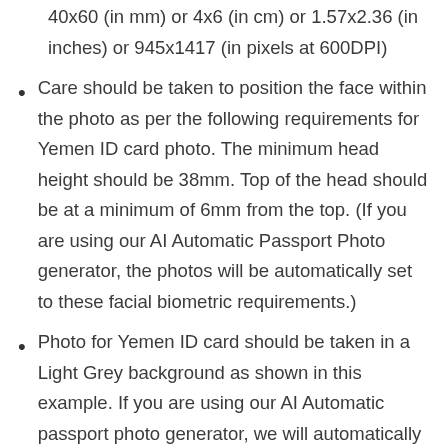40x60 (in mm) or 4x6 (in cm) or 1.57x2.36 (in inches) or 945x1417 (in pixels at 600DPI)
Care should be taken to position the face within the photo as per the following requirements for Yemen ID card photo. The minimum head height should be 38mm. Top of the head should be at a minimum of 6mm from the top. (If you are using our AI Automatic Passport Photo generator, the photos will be automatically set to these facial biometric requirements.)
Photo for Yemen ID card should be taken in a Light Grey background as shown in this example. If you are using our AI Automatic passport photo generator, we will automatically set the right background for your photo.
You should print Yemen ID card photo on